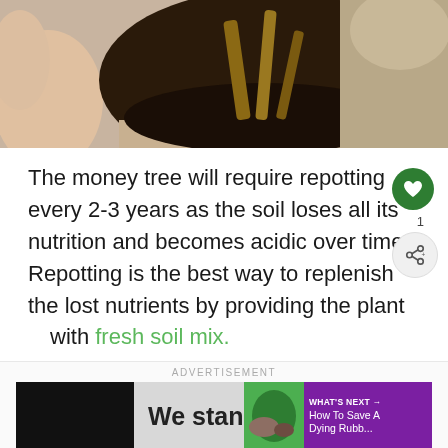[Figure (photo): Photo of a money tree plant with roots being repotted into a ceramic pot filled with dark soil, hands visible at the edge]
The money tree will require repotting every 2-3 years as the soil loses all its nutrition and becomes acidic over time. Repotting is the best way to replenish the lost nutrients by providing the plant with fresh soil mix.
[Figure (other): Advertisement banner reading 'We stand with' alongside a 'What's Next' sidebar showing 'How To Save A Dying Rubb...']